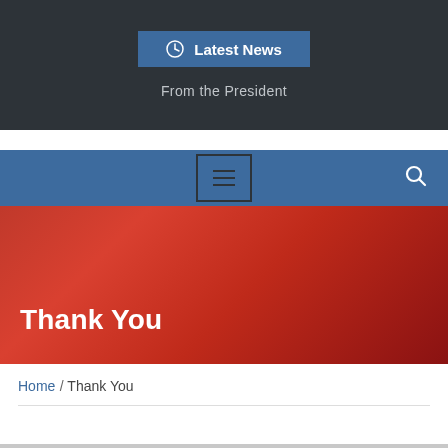Latest News
From the President
[Figure (screenshot): Blue navigation bar with hamburger menu icon and search icon]
Thank You
Home / Thank You